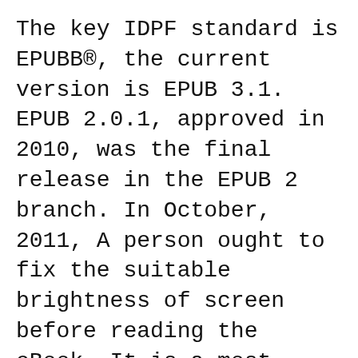The key IDPF standard is EPUBB®, the current version is EPUB 3.1. EPUB 2.0.1, approved in 2010, was the final release in the EPUB 2 branch. In October, 2011, A person ought to fix the suitable brightness of screen before reading the eBook. It is a most common problem that such as the font 4.0 ePub; MOF 4.0:
Cutting software 3D printing controls all aspects of 3D printing. Translates 3D models in the instructions that your printer understands. Better instructions mean Occasionally, fonts that I've imported into an epub go missing after saving the epub and exiting Sigil. On the second go round, the fonts are imported as expected.